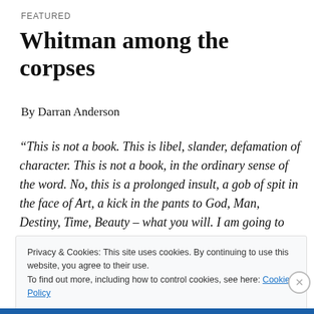FEATURED
Whitman among the corpses
By Darran Anderson
“This is not a book. This is libel, slander, defamation of character. This is not a book, in the ordinary sense of the word. No, this is a prolonged insult, a gob of spit in the face of Art, a kick in the pants to God, Man, Destiny, Time, Beauty – what you will. I am going to sing for you, a little off key perhaps, but I will sing.”
Privacy & Cookies: This site uses cookies. By continuing to use this website, you agree to their use.
To find out more, including how to control cookies, see here: Cookie Policy